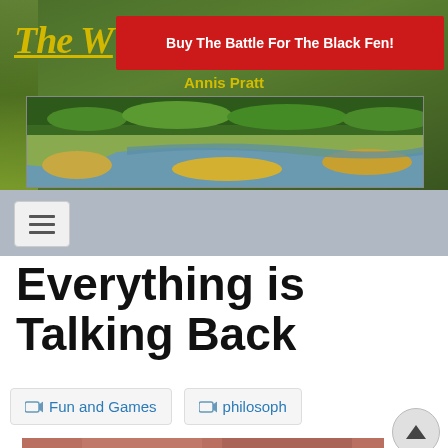[Figure (screenshot): Website header with green background, yellow italic site title 'The W', red promotional banner 'Buy The Battle For The Black Fen!', author name 'Annis Pratt' in gold, and aerial landscape photo of wetlands/marshes]
Buy The Battle For The Black Fen!
[Figure (photo): Aerial photograph of a wetland/marsh landscape with winding waterway, green forest in the background, and golden marsh grasses]
Annis Pratt
[Figure (other): Navigation bar with hamburger menu button (three horizontal lines)]
Everything is Talking Back
Fun and Games
philosophy
[Figure (photo): Partial photo of a person in a red/salmon shirt, cropped at bottom of page]